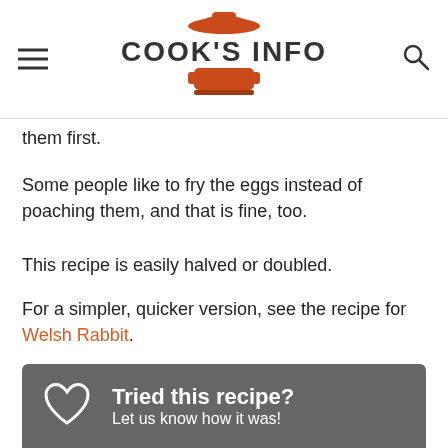COOK'S INFO
them first.
Some people like to fry the eggs instead of poaching them, and that is fine, too.
This recipe is easily halved or doubled.
For a simpler, quicker version, see the recipe for Welsh Rabbit.
Tried this recipe? Let us know how it was!